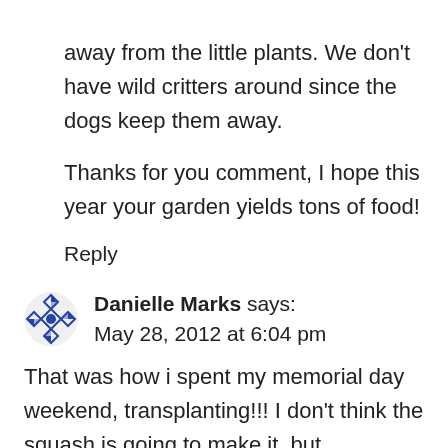away from the little plants. We don't have wild critters around since the dogs keep them away.
Thanks for you comment, I hope this year your garden yields tons of food!
Reply
Danielle Marks says:
May 28, 2012 at 6:04 pm
That was how i spent my memorial day weekend, transplanting!!! I don't think the squash is going to make it, but everything